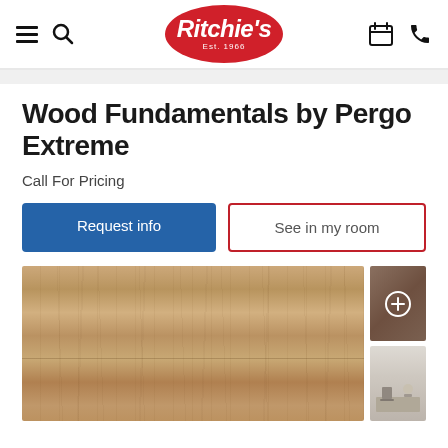Ritchie's Est. 1966 — navigation header with hamburger menu, search, calendar, and phone icons
Wood Fundamentals by Pergo Extreme
Call For Pricing
Request info
See in my room
[Figure (photo): Laminate wood flooring sample showing light oak wood grain texture with two thumbnail images on the right side]